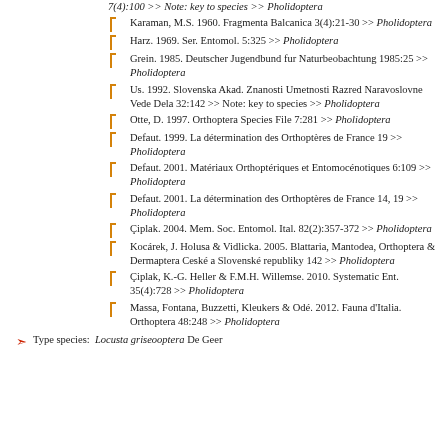7(4):100 >> Note: key to species >> Pholidoptera
Karaman, M.S. 1960. Fragmenta Balcanica 3(4):21-30 >> Pholidoptera
Harz. 1969. Ser. Entomol. 5:325 >> Pholidoptera
Grein. 1985. Deutscher Jugendbund fur Naturbeobachtung 1985:25 >> Pholidoptera
Us. 1992. Slovenska Akad. Znanosti Umetnosti Razred Naravoslovne Vede Dela 32:142 >> Note: key to species >> Pholidoptera
Otte, D. 1997. Orthoptera Species File 7:281 >> Pholidoptera
Defaut. 1999. La détermination des Orthoptères de France 19 >> Pholidoptera
Defaut. 2001. Matériaux Orthoptériques et Entomocénotiques 6:109 >> Pholidoptera
Defaut. 2001. La détermination des Orthoptères de France 14, 19 >> Pholidoptera
Çiplak. 2004. Mem. Soc. Entomol. Ital. 82(2):357-372 >> Pholidoptera
Kocárek, J. Holusa & Vidlicka. 2005. Blattaria, Mantodea, Orthoptera & Dermaptera Ceské a Slovenské republiky 142 >> Pholidoptera
Çiplak, K.-G. Heller & F.M.H. Willemse. 2010. Systematic Ent. 35(4):728 >> Pholidoptera
Massa, Fontana, Buzzetti, Kleukers & Odé. 2012. Fauna d'Italia. Orthoptera 48:248 >> Pholidoptera
Type species: Locusta griseooptera De Geer